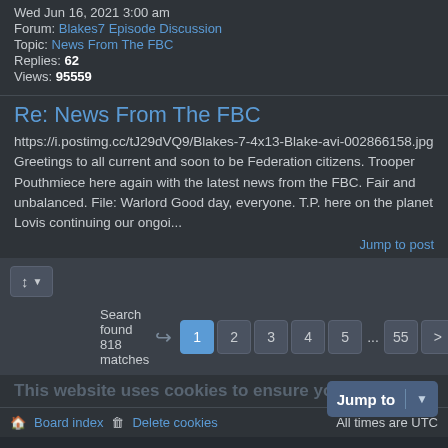Wed Jun 16, 2021 3:00 am
Forum: Blakes7 Episode Discussion
Topic: News From The FBC
Replies: 62
Views: 95559
Re: News From The FBC
https://i.postimg.cc/tJ29dVQ9/Blakes-7-4x13-Blake-avi-002866158.jpg
Greetings to all current and soon to be Federation citizens. Trooper Pouthmiece here again with the latest news from the FBC. Fair and unbalanced. File: Warlord Good day, everyone. T.P. here on the planet Lovis continuing our ongoi...
Jump to post
Search found 818 matches
1 2 3 4 5 ... 55 >
This website uses cookies to ensure you get the best experience on our website.
Jump to
Board index | Delete cookies | All times are UTC
Powered by phpBB® Forum Software © phpBB Limited
Style by Arty - phpBB 3.2 by MrGaby
Privacy | Terms